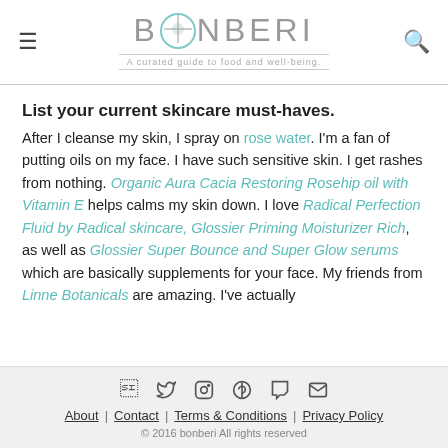BONBERI — A curated guide to food and well-being.
List your current skincare must-haves.
After I cleanse my skin, I spray on rose water. I'm a fan of putting oils on my face. I have such sensitive skin. I get rashes from nothing. Organic Aura Cacia Restoring Rosehip oil with Vitamin E helps calms my skin down. I love Radical Perfection Fluid by Radical skincare, Glossier Priming Moisturizer Rich, as well as Glossier Super Bounce and Super Glow serums which are basically supplements for your face. My friends from Linne Botanicals are amazing. I've actually
About | Contact | Terms & Conditions | Privacy Policy © 2016 bonberi All rights reserved